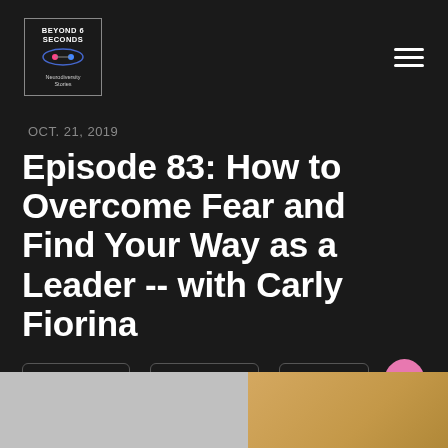[Figure (logo): Beyond 6 Seconds podcast logo with text and graphic in a bordered box]
OCT. 21, 2019
Episode 83: How to Overcome Fear and Find Your Way as a Leader -- with Carly Fiorina
[Figure (screenshot): Social sharing buttons: Tweet, Share (Facebook), Share (generic), and a pink microphone button]
[Figure (photo): Bottom portion showing a photo split — left side light gray background, right side showing hair/person in warm tones]